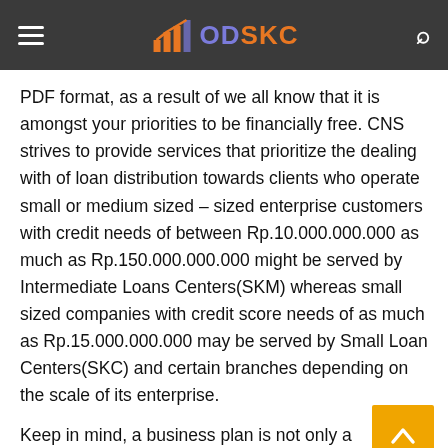ODSKC
PDF format, as a result of we all know that it is amongst your priorities to be financially free. CNS strives to provide services that prioritize the dealing with of loan distribution towards clients who operate small or medium sized – sized enterprise customers with credit needs of between Rp.10.000.000.000 as much as Rp.150.000.000.000 might be served by Intermediate Loans Centers(SKM) whereas small sized companies with credit score needs of as much as Rp.15.000.000.000 may be served by Small Loan Centers(SKC) and certain branches depending on the scale of its enterprise.
Keep in mind, a business plan is not only a